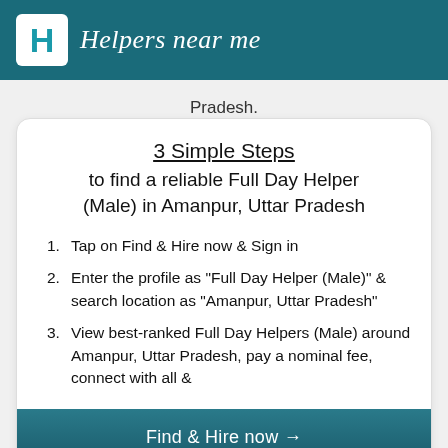Helpers near me
Pradesh.
3 Simple Steps to find a reliable Full Day Helper (Male) in Amanpur, Uttar Pradesh
1. Tap on Find & Hire now & Sign in
2. Enter the profile as "Full Day Helper (Male)" & search location as "Amanpur, Uttar Pradesh"
3. View best-ranked Full Day Helpers (Male) around Amanpur, Uttar Pradesh, pay a nominal fee, connect with all &
Find & Hire now →